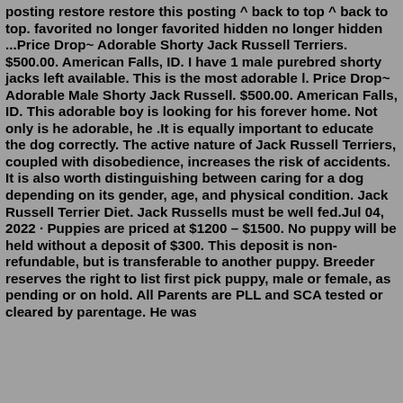posting restore restore this posting ^ back to top ^ back to top. favorited no longer favorited hidden no longer hidden ...Price Drop~ Adorable Shorty Jack Russell Terriers. $500.00. American Falls, ID. I have 1 male purebred shorty jacks left available. This is the most adorable l. Price Drop~ Adorable Male Shorty Jack Russell. $500.00. American Falls, ID. This adorable boy is looking for his forever home. Not only is he adorable, he .It is equally important to educate the dog correctly. The active nature of Jack Russell Terriers, coupled with disobedience, increases the risk of accidents. It is also worth distinguishing between caring for a dog depending on its gender, age, and physical condition. Jack Russell Terrier Diet. Jack Russells must be well fed.Jul 04, 2022 · Puppies are priced at $1200 – $1500. No puppy will be held without a deposit of $300. This deposit is non-refundable, but is transferable to another puppy. Breeder reserves the right to list first pick puppy, male or female, as pending or on hold. All Parents are PLL and SCA tested or cleared by parentage. He was